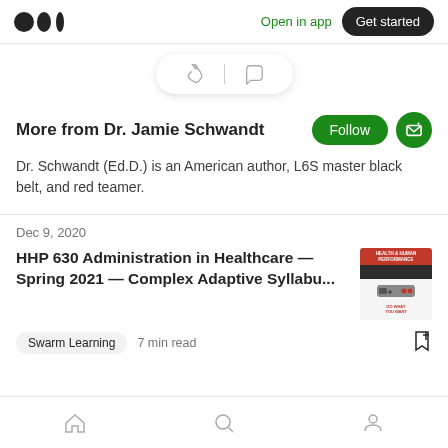Medium logo | Open in app | Get started
[Figure (screenshot): Clap and comment action bar]
More from Dr. Jamie Schwandt
Dr. Schwandt (Ed.D.) is an American author, L6S master black belt, and red teamer.
Dec 9, 2020
HHP 630 Administration in Healthcare — Spring 2021 — Complex Adaptive Syllabu...
Swarm Learning · 7 min read
Home | Search | Profile